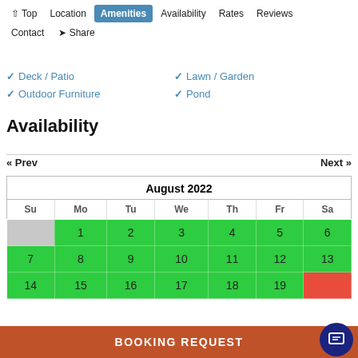↑ Top   Location   Amenities   Availability   Rates   Reviews   Contact   ➤ Share
✔ Deck / Patio
✔ Lawn / Garden
✔ Outdoor Furniture
✔ Pond
Availability
« Prev   Next »
| Su | Mo | Tu | We | Th | Fr | Sa |
| --- | --- | --- | --- | --- | --- | --- |
|  | 1 | 2 | 3 | 4 | 5 | 6 |
| 7 | 8 | 9 | 10 | 11 | 12 | 13 |
| 14 | 15 | 16 | 17 | 18 | 19 |  |
BOOKING REQUEST